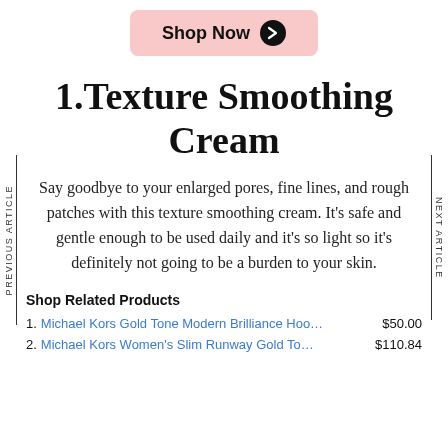[Figure (other): Pink rounded rectangle button with bold text 'Shop Now' and a dark circle arrow icon]
1.Texture Smoothing Cream
Say goodbye to your enlarged pores, fine lines, and rough patches with this texture smoothing cream. It's safe and gentle enough to be used daily and it's so light so it's definitely not going to be a burden to your skin.
Shop Related Products
1. Michael Kors Gold Tone Modern Brilliance Hoo…   $50.00
2. Michael Kors Women's Slim Runway Gold To…   $110.84